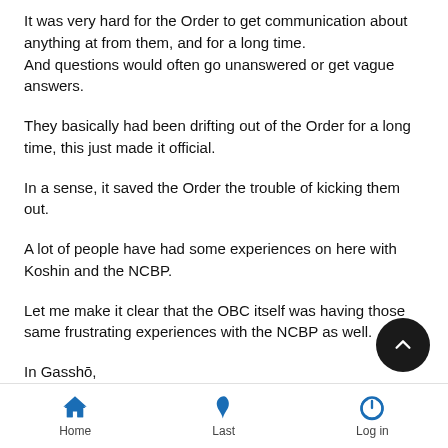It was very hard for the Order to get communication about anything at from them, and for a long time.
And questions would often go unanswered or get vague answers.
They basically had been drifting out of the Order for a long time, this just made it official.
In a sense, it saved the Order the trouble of kicking them out.
A lot of people have had some experiences on here with Koshin and the NCBP.
Let me make it clear that the OBC itself was having those same frustrating experiences with the NCBP as well.
In Gasshō,
Home   Last   Log in